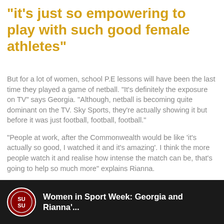“it’s just so empowering to play with such good female athletes”
But for a lot of women, school P.E lessons will have been the last time they played a game of netball. “It’s definitely the exposure on TV” says Georgia. “Although, netball is becoming quite dominant on the TV. Sky Sports, they’re actually showing it but before it was just football, football, football.”
“People at work, after the Commonwealth would be like ‘it’s actually so good, I watched it and it’s amazing’. I think the more people watch it and realise how intense the match can be, that’s going to help so much more” explains Rianna.
[Figure (screenshot): Video thumbnail with SUSU logo on dark background, showing text: Women in Sport Week: Georgia and Rianna'...]